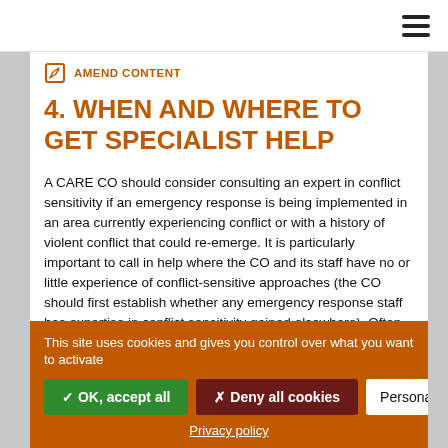≡ (hamburger menu)
AMEND CONTENT
4. WHEN AND WHERE TO GET SPECIALIST HELP
A CARE CO should consider consulting an expert in conflict sensitivity if an emergency response is being implemented in an area currently experiencing conflict or with a history of violent conflict that could re-emerge. It is particularly important to call in help where the CO and its staff have no or little experience of conflict-sensitive approaches (the CO should first establish whether any emergency response staff has expertise in conflict sensitivity gained elsewhere). Often, staff will not realise the potential for the CO's response may have a negative effect on
This site uses cookies and gives you control over what you want to activate
✓ OK, accept all   ✗ Deny all cookies   Personalize
Privacy policy